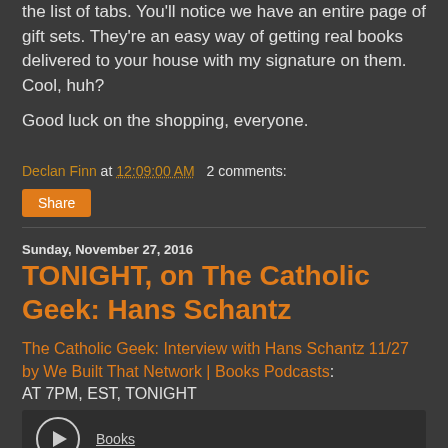the list of tabs. You'll notice we have an entire page of gift sets. They're an easy way of getting real books delivered to your house with my signature on them. Cool, huh?
Good luck on the shopping, everyone.
Declan Finn at 12:09:00 AM   2 comments:
Share
Sunday, November 27, 2016
TONIGHT, on The Catholic Geek: Hans Schantz
The Catholic Geek: Interview with Hans Schantz 11/27 by We Built That Network | Books Podcasts: AT 7PM, EST, TONIGHT
[Figure (other): Embedded podcast player with play button and Books label]